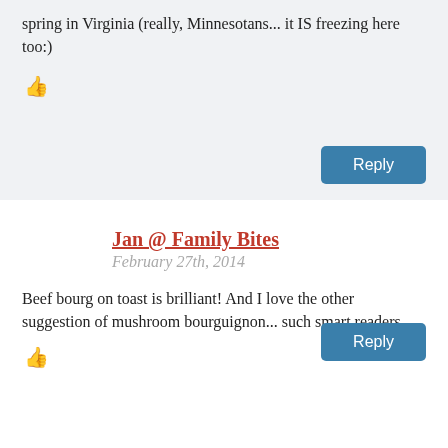spring in Virginia (really, Minnesotans... it IS freezing here too:)
👍
Reply
Jan @ Family Bites
February 27th, 2014
Beef bourg on toast is brilliant! And I love the other suggestion of mushroom bourguignon... such smart readers.
👍
Reply